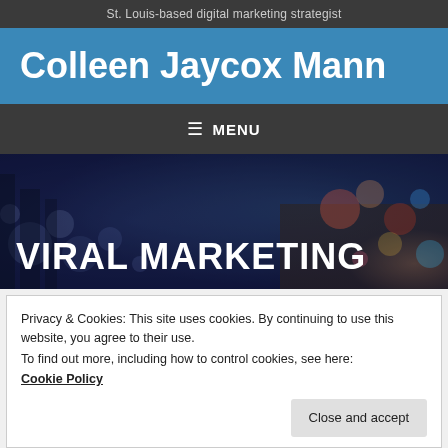St. Louis-based digital marketing strategist
Colleen Jaycox Mann
≡ MENU
[Figure (photo): Blurred bokeh city lights background with text overlay reading VIRAL MARKETING in large bold white uppercase letters]
Privacy & Cookies: This site uses cookies. By continuing to use this website, you agree to their use.
To find out more, including how to control cookies, see here:
Cookie Policy
Close and accept